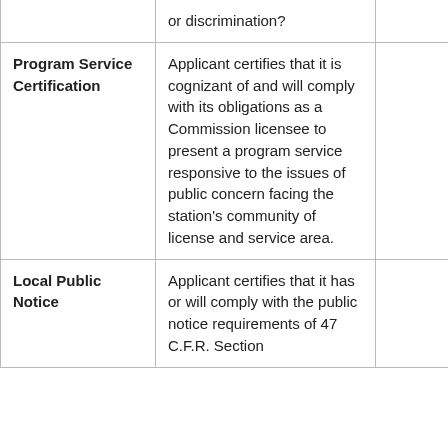|  |  |  |
| --- | --- | --- |
|  | or discrimination? |  |
| Program Service Certification | Applicant certifies that it is cognizant of and will comply with its obligations as a Commission licensee to present a program service responsive to the issues of public concern facing the station's community of license and service area. |  |
| Local Public Notice | Applicant certifies that it has or will comply with the public notice requirements of 47 C.F.R. Section |  |